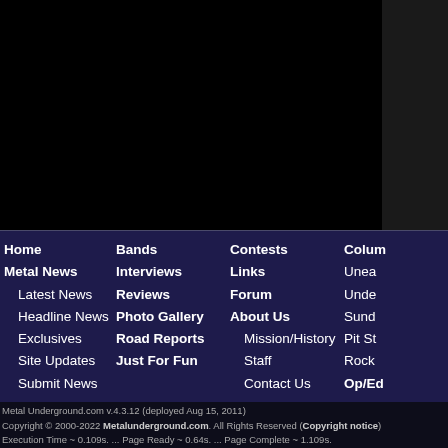[Figure (other): Black background area representing the main content region of the website, partially cropped. A dark sidebar is visible on the right.]
Home
Metal News
Latest News
Headline News
Exclusives
Site Updates
Submit News
Bands
Interviews
Reviews
Photo Gallery
Road Reports
Just For Fun
Contests
Links
Forum
About Us
Mission/History
Staff
Contact Us
Colum
Unea
Unde
Sund
Pit St
Rock
Op/Ed
Metal Underground.com v.4.3.12 (deployed Aug 15, 2011)
Copyright © 2000-2022 Metalunderground.com. All Rights Reserved (Copyright notice)
Execution Time ~ 0.109s. ... Page Ready ~ 0.64s. ... Page Complete ~ 1.109s.